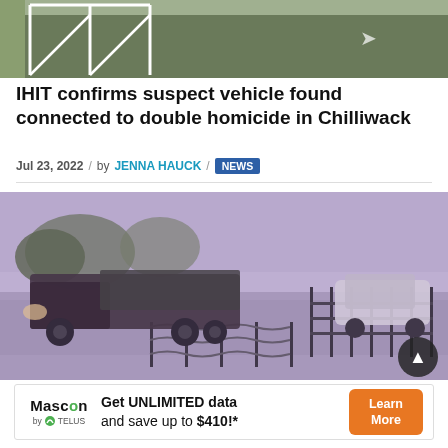[Figure (photo): Top portion of a parking lot aerial/overhead view showing parking space lines on dark asphalt]
IHIT confirms suspect vehicle found connected to double homicide in Chilliwack
Jul 23, 2022 / by JENNA HAUCK / NEWS
[Figure (photo): CCTV security camera footage showing a dark truck/flatbed vehicle on a road near a fence, with other cars visible. The image has a purple/lavender tint.]
Get UNLIMITED data and save up to $410!* — Mascon by TELUS advertisement with Learn More button